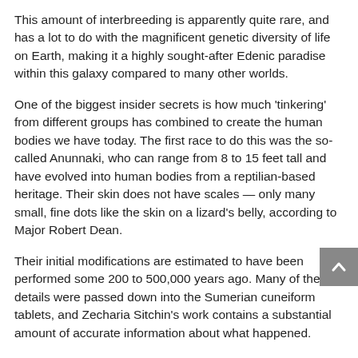This amount of interbreeding is apparently quite rare, and has a lot to do with the magnificent genetic diversity of life on Earth, making it a highly sought-after Edenic paradise within this galaxy compared to many other worlds.
One of the biggest insider secrets is how much 'tinkering' from different groups has combined to create the human bodies we have today. The first race to do this was the so-called Anunnaki, who can range from 8 to 15 feet tall and have evolved into human bodies from a reptilian-based heritage. Their skin does not have scales — only many small, fine dots like the skin on a lizard's belly, according to Major Robert Dean.
Their initial modifications are estimated to have been performed some 200 to 500,000 years ago. Many of the details were passed down into the Sumerian cuneiform tablets, and Zecharia Sitchin's work contains a substantial amount of accurate information about what happened.
Other visitors blended their own genetics in as time went by. Nonetheless, the Anunnaki erroneously still believe themselves to be our 'Gods' thanks to having been the first...